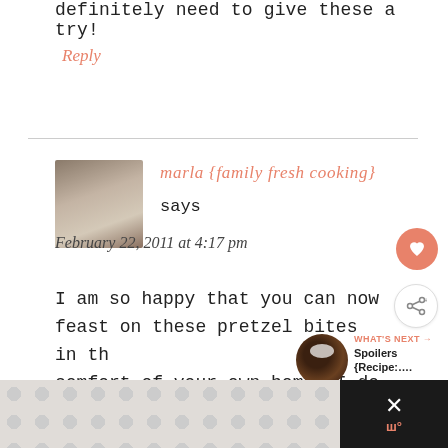definitely need to give these a try!
Reply
[Figure (photo): Avatar photo of marla, a woman with wavy brown hair]
marla {family fresh cooking} says
February 22, 2011 at 4:17 pm
I am so happy that you can now feast on these pretzel bites in the comfort of your own home. I do believe they will be tastier, fresher &
[Figure (photo): Small circular thumbnail of dark pretzel bites with salt, labeled WHAT'S NEXT → Spoilers {Recipe:....]
[Figure (other): Bottom advertisement bar with dotted pattern and close button]